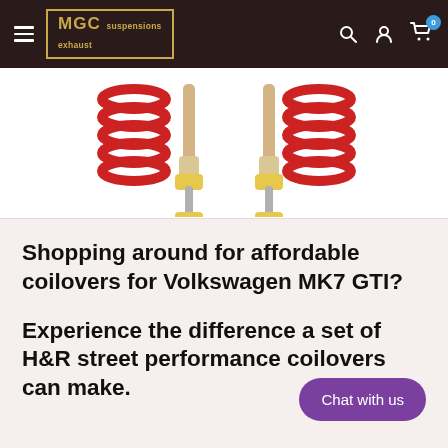MGC Suspensions Exhaust — Navigation bar with hamburger menu, logo, search, account, and cart icons
[Figure (photo): Product photo of H&R coilovers with red coil springs and yellow bump stops against a white background]
Shopping around for affordable coilovers for Volkswagen MK7 GTI?
Experience the difference a set of H&R street performance coilovers can make.